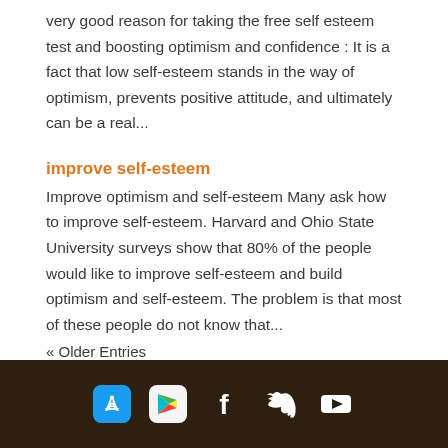very good reason for taking the free self esteem test and boosting optimism and confidence : It is a fact that low self-esteem stands in the way of optimism, prevents positive attitude, and ultimately can be a real...
improve self-esteem
Improve optimism and self-esteem Many ask how to improve self-esteem. Harvard and Ohio State University surveys show that 80% of the people would like to improve self-esteem and build optimism and self-esteem. The problem is that most of these people do not know that...
« Older Entries
[Figure (other): Dark brown footer bar with five social/app icons: Apple App Store, Google Play, Facebook, Twitter, YouTube]